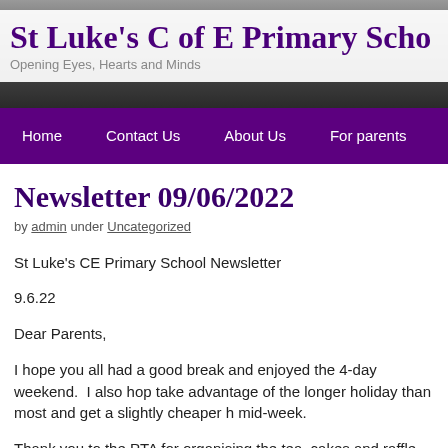St Luke's C of E Primary School
Opening Eyes, Hearts and Minds
Home | Contact Us | About Us | For parents
Newsletter 09/06/2022
by admin under Uncategorized
St Luke’s CE Primary School Newsletter
9.6.22
Dear Parents,
I hope you all had a good break and enjoyed the 4-day weekend.  I also hop take advantage of the longer holiday than most and get a slightly cheaper h mid-week.
Thank you to the PTA for organising the tea, cakes and raffle that formed pa school.  Also thank you to everyone who helped do the clean-up at the end